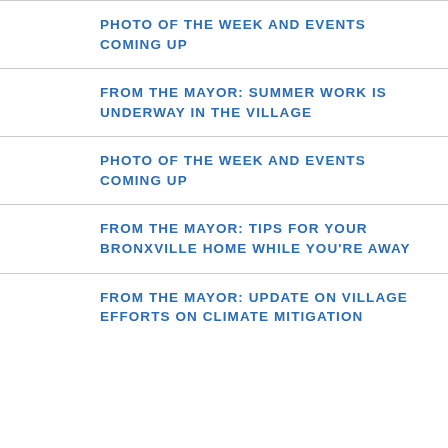PHOTO OF THE WEEK AND EVENTS COMING UP
FROM THE MAYOR: SUMMER WORK IS UNDERWAY IN THE VILLAGE
PHOTO OF THE WEEK AND EVENTS COMING UP
FROM THE MAYOR: TIPS FOR YOUR BRONXVILLE HOME WHILE YOU'RE AWAY
FROM THE MAYOR: UPDATE ON VILLAGE EFFORTS ON CLIMATE MITIGATION